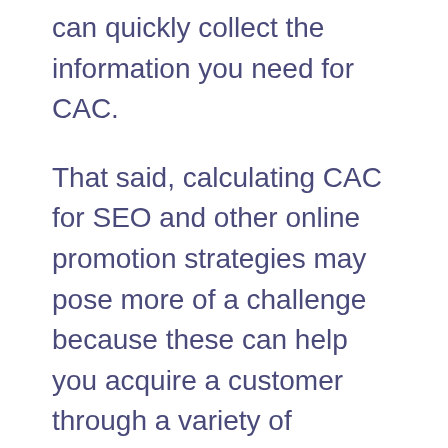can quickly collect the information you need for CAC.
That said, calculating CAC for SEO and other online promotion strategies may pose more of a challenge because these can help you acquire a customer through a variety of different channels.
It's important to note that calculating CAC is not enough to create a predictable model that promotes sustained growth.
You have to learn how to leverage this information and compare it against other KPIs to reveal valuable information about the